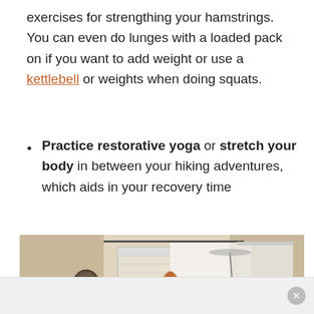exercises for strengthing your hamstrings. You can even do lunges with a loaded pack on if you want to add weight or use a kettlebell or weights when doing squats.
Practice restorative yoga or stretch your body in between your hiking adventures, which aids in your recovery time
[Figure (photo): Woman in a maroon t-shirt practicing a yoga pose with arms outstretched in a living room with white curtains, plants, and a floor lamp.]